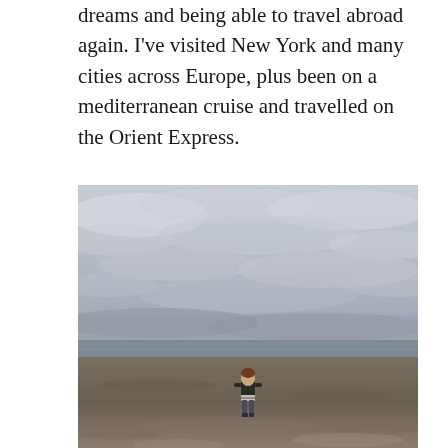dreams and being able to travel abroad again. I've visited New York and many cities across Europe, plus been on a mediterranean cruise and travelled on the Orient Express.
[Figure (photo): A young child standing alone on a wide sandy beach under an overcast, cloudy grey sky. The horizon shows the sea in the distance. The child is small relative to the vast open beach, wearing dark clothing.]